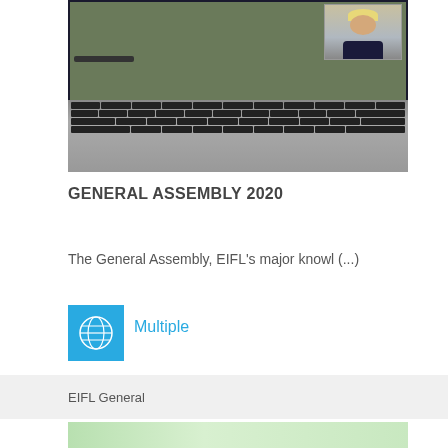[Figure (photo): Laptop computer showing a video call with a person on screen, keyboard visible in foreground]
GENERAL ASSEMBLY 2020
The General Assembly, EIFL's major knowl (...)
[Figure (illustration): Blue globe/world icon indicating multiple locations]
Multiple
EIFL General
[Figure (photo): Partial image at bottom of page, appears to show green plant/leaf]